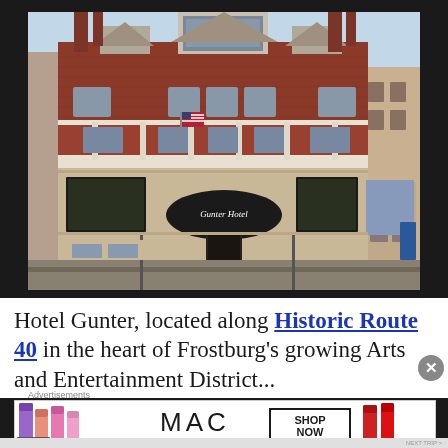[Figure (photo): Exterior photo of Hotel Gunter, a historic multi-story red brick building with white trim, balconies, chimneys, and a black oval entrance canopy reading 'Gunter Hotel'. An American flag is visible on the second floor. Street-level shows storefronts and windows.]
Hotel Gunter, located along Historic Route 40 in the heart of Frostburg's growing Arts and Entertainment District...
[Figure (photo): MAC cosmetics advertisement showing multiple lipsticks in purple, peach, and pink colors alongside the MAC logo and a 'SHOP NOW' box, with a red lipstick on the right.]